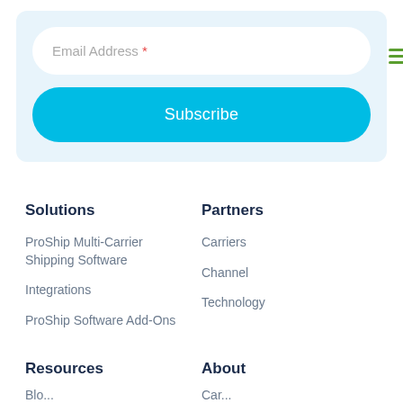Email Address *
Subscribe
Solutions
Partners
ProShip Multi-Carrier Shipping Software
Carriers
Integrations
Channel
ProShip Software Add-Ons
Technology
Resources
About